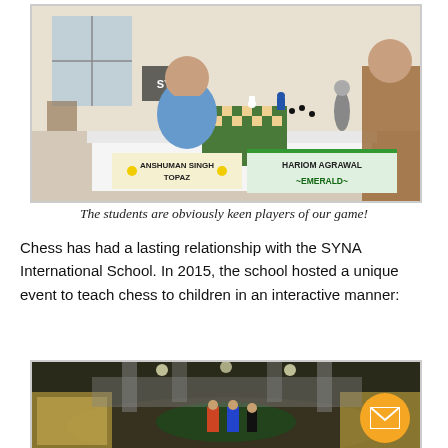[Figure (photo): Two school boys playing chess at a table with a chessboard. Name placards on the table read 'Anshuman Singh Topaz' and 'Hariom Agrawal Emerald'. The setting is a large hall with white walls and windows.]
The students are obviously keen players of our game!
Chess has had a lasting relationship with the SYNA International School. In 2015, the school hosted a unique event to teach chess to children in an interactive manner:
[Figure (photo): Overhead view of a large assembly of students gathered in a circular arrangement in a school courtyard or atrium, with people standing in the center, possibly demonstrating a human chess event.]